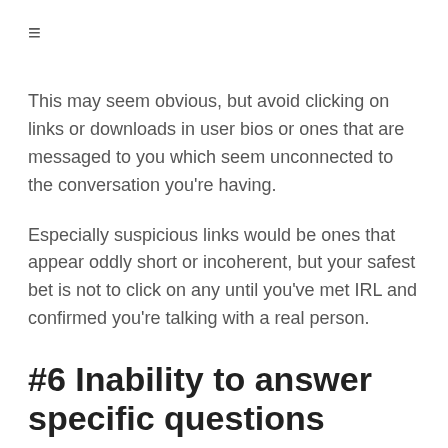≡
This may seem obvious, but avoid clicking on links or downloads in user bios or ones that are messaged to you which seem unconnected to the conversation you're having.
Especially suspicious links would be ones that appear oddly short or incoherent, but your safest bet is not to click on any until you've met IRL and confirmed you're talking with a real person.
#6 Inability to answer specific questions